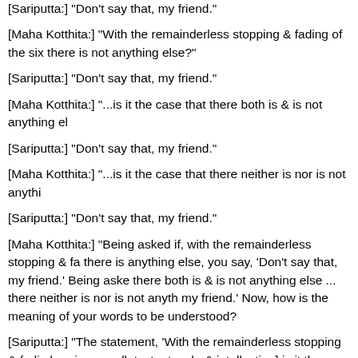[Sariputta:] "Don't say that, my friend."
[Maha Kotthita:] "With the remainderless stopping & fading of the six there is not anything else?"
[Sariputta:] "Don't say that, my friend."
[Maha Kotthita:] "...is it the case that there both is & is not anything el
[Sariputta:] "Don't say that, my friend."
[Maha Kotthita:] "...is it the case that there neither is nor is not anythi
[Sariputta:] "Don't say that, my friend."
[Maha Kotthita:] "Being asked if, with the remainderless stopping & fa there is anything else, you say, 'Don't say that, my friend.' Being aske there both is & is not anything else ... there neither is nor is not anyth my friend.' Now, how is the meaning of your words to be understood?
[Sariputta:] "The statement, 'With the remainderless stopping & fadin hearing, smell, taste, touch, & intellection] is it the case that there is a objectification.[1] The statement, '... is it the case that there is not any there both is & is not anything else ... is it the case that there neither objectifies nor objectification. However for the six contact medias